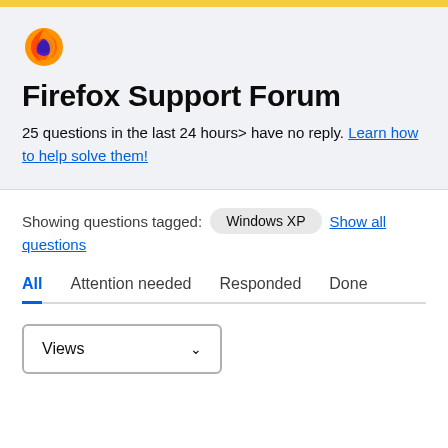Firefox Support Forum
25 questions in the last 24 hours> have no reply. Learn how to help solve them!
Showing questions tagged: Windows XP  Show all questions
All  Attention needed  Responded  Done
Views